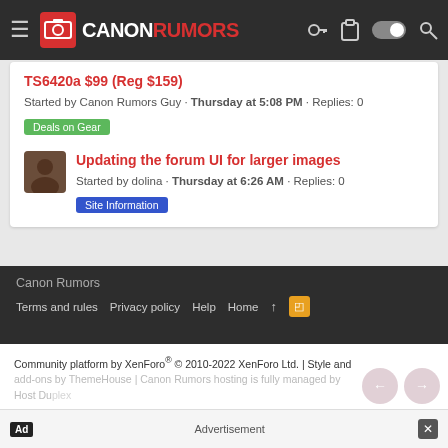Canon Rumors navigation bar with logo, hamburger menu, key icon, clipboard icon, toggle, and search icon
TS6420a $99 (Reg $159)
Started by Canon Rumors Guy · Thursday at 5:08 PM · Replies: 0
Deals on Gear
Updating the forum UI for larger images
Started by dolina · Thursday at 6:26 AM · Replies: 0
Site Information
Canon Rumors
Terms and rules · Privacy policy · Help · Home · ↑ · RSS
Community platform by XenForo® © 2010-2022 XenForo Ltd. | Style and add-ons by ThemeHouse | Canon Rumors hosting is fully managed by Host Duplex
Ad  Advertisement  ×